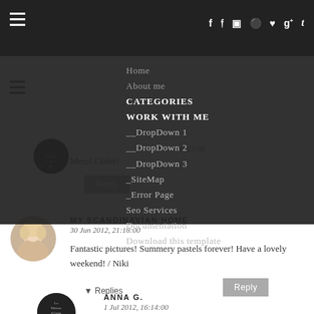Navigation bar with social icons: f, twitter, instagram, pinterest, heart, g+, t
Home
About me
CATEGORIES
WORK WITH ME
__DropDown 1
__DropDown 2
__DropDown 3
_SiteMap
_Error Page
Seo Services
Documentation
Download this template
Merci Claire!
1 Jul 2012, 16:13:00
Reply
MY SCANDINAVIAN HOME
30 Jun 2012, 21:18:00
Fantastic pictures! Summery pastels forever! Have a lovely weekend! / Niki
Reply
Replies
ANNA G.
1 Jul 2012, 16:14:00